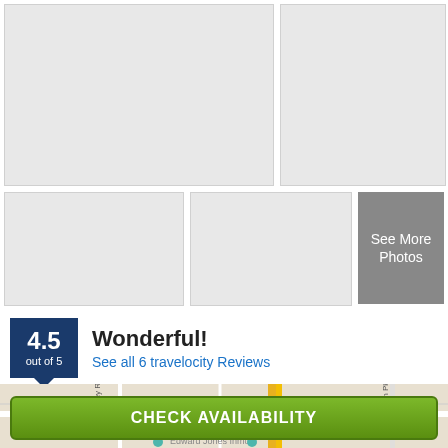[Figure (photo): Hotel photo grid with 4 placeholder image slots and a 'See More Photos' overlay button in the bottom-right]
4.5 out of 5 — Wonderful! See all 6 travelocity Reviews
[Figure (map): Map showing area near Maryland Heights with McKelvey Rd and Weldon Pkwy visible, with Edwards Jones anchor below]
CHECK AVAILABILITY